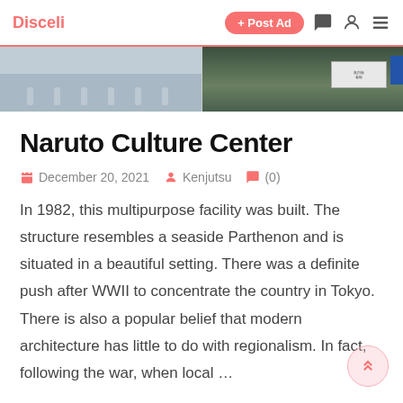Disceli | + Post Ad
[Figure (photo): Hero image strip showing a wide outdoor scene, left half shows bollards/posts on pavement, right half shows green trees and a sign board]
Naruto Culture Center
December 20, 2021  Kenjutsu  (0)
In 1982, this multipurpose facility was built. The structure resembles a seaside Parthenon and is situated in a beautiful setting. There was a definite push after WWII to concentrate the country in Tokyo. There is also a popular belief that modern architecture has little to do with regionalism. In fact, following the war, when local ...